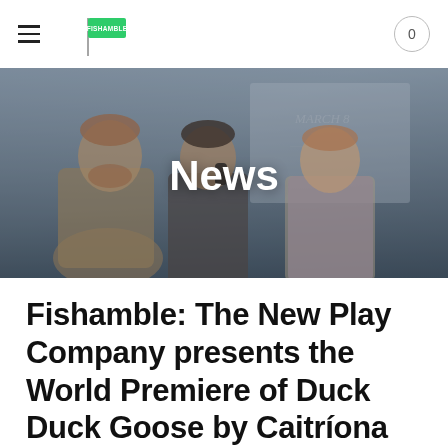FISHAMBLE [logo] 0
[Figure (photo): Hero banner showing three theatre actors on stage with a whiteboard in the background, overlaid with the word 'News' in white bold text]
Fishamble: The New Play Company presents the World Premiere of Duck Duck Goose by Caitríona Daly